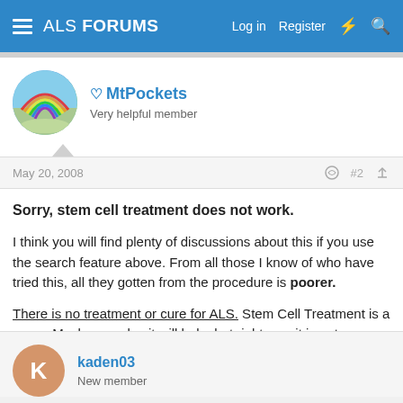ALS FORUMS  Log in  Register
MtPockets
Very helpful member
May 20, 2008  #2
Sorry, stem cell treatment does not work.

I think you will find plenty of discussions about this if you use the search feature above. From all those I know of who have tried this, all they gotten from the procedure is poorer.

There is no treatment or cure for ALS. Stem Cell Treatment is a scam. Maybe one day it will help, but right now it is not effective.
kaden03
New member